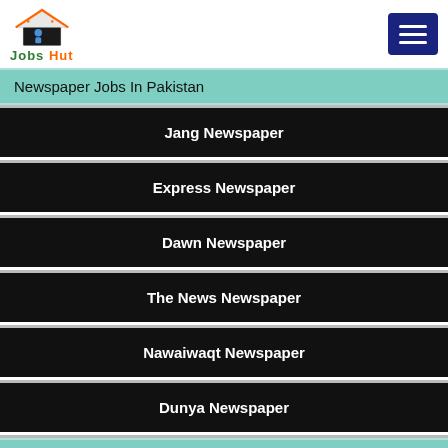[Figure (logo): Jobs Hut logo with roof/house icon and text 'Jobs Hut']
Newspaper Jobs In Pakistan
Jang Newspaper
Express Newspaper
Dawn Newspaper
The News Newspaper
Nawaiwaqt Newspaper
Dunya Newspaper
Latest Jobs in Pakistan By Profession